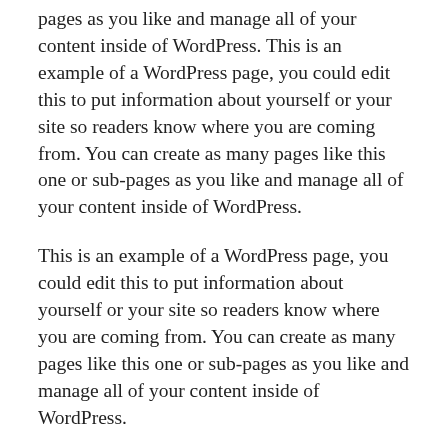pages as you like and manage all of your content inside of WordPress. This is an example of a WordPress page, you could edit this to put information about yourself or your site so readers know where you are coming from. You can create as many pages like this one or sub-pages as you like and manage all of your content inside of WordPress.
This is an example of a WordPress page, you could edit this to put information about yourself or your site so readers know where you are coming from. You can create as many pages like this one or sub-pages as you like and manage all of your content inside of WordPress.
This is an example of a WordPress page, you could edit this to put information about yourself or your site so readers know where you are coming from. You can create as many pages like this one or sub-